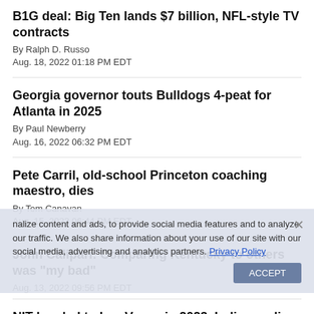B1G deal: Big Ten lands $7 billion, NFL-style TV contracts
By Ralph D. Russo
Aug. 18, 2022 01:18 PM EDT
Georgia governor touts Bulldogs 4-peat for Atlanta in 2025
By Paul Newberry
Aug. 16, 2022 06:32 PM EDT
Pete Carril, old-school Princeton coaching maestro, dies
By Tom Canavan
Aug. 15, 2022 06:44 PM EDT
John Calipari: Comparing Kentucky to others was "my bad"
Aug. 13, 2022 09:56 PM EDT
NIT headed to Las Vegas in 2023, Indianapolis in 2024
Aug. 12, 2022 06:06 PM EDT